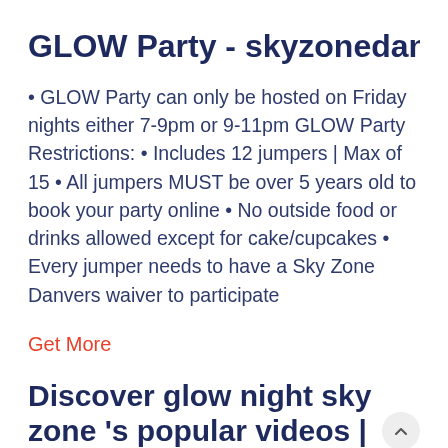GLOW Party - skyzonedanvers.centeredgeonlin
• GLOW Party can only be hosted on Friday nights either 7-9pm or 9-11pm GLOW Party Restrictions: • Includes 12 jumpers | Max of 15 • All jumpers MUST be over 5 years old to book your party online • No outside food or drinks allowed except for cake/cupcakes • Every jumper needs to have a Sky Zone Danvers waiver to participate
Get More
Discover glow night sky zone 's popular videos | TikTok